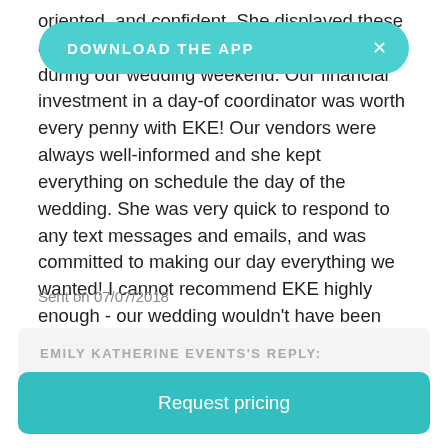oriented, and confident. She displayed these characteristics throughout … and during our wedding weekend. Our financial investment in a day-of coordinator was worth every penny with EKE! Our vendors were always well-informed and she kept everything on schedule the day of the wedding. She was very quick to respond to any text messages and emails, and was committed to making our day everything we wanted! I cannot recommend EKE highly enough - our wedding wouldn't have been the same without her and her team! Thanks EKE!
Sent on 07/07/2018
EMILY KATHERINE EVENTS'S REPLY:
DOWNLOAD THE APP
Request pricing